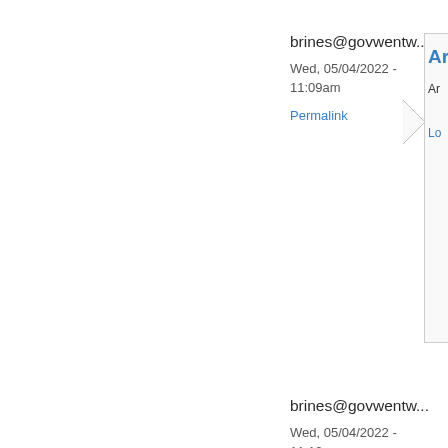brines@govwentw...
Wed, 05/04/2022 - 11:09am
Permalink
An
An
Lo
brines@govwentw...
Wed, 05/04/2022 - 11:12am
Permalink
Oh
Ple
Br
Lo
enneng
Tue, 08/09/2022 - 5:22am
Permalink
Display Rota
Before the lates rotation day it v